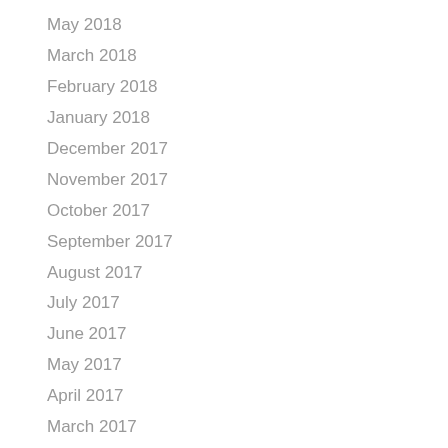May 2018
March 2018
February 2018
January 2018
December 2017
November 2017
October 2017
September 2017
August 2017
July 2017
June 2017
May 2017
April 2017
March 2017
February 2017